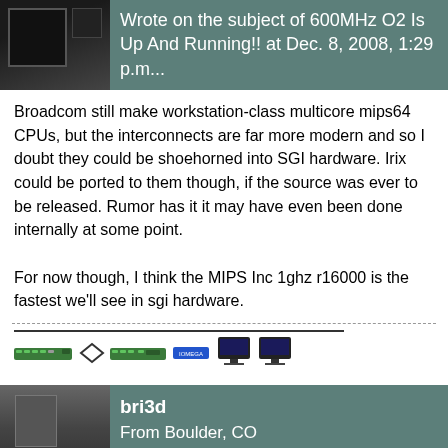Wrote on the subject of 600MHz O2 Is Up And Running!! at Dec. 8, 2008, 1:29 p.m...
Broadcom still make workstation-class multicore mips64 CPUs, but the interconnects are far more modern and so I doubt they could be shoehorned into SGI hardware. Irix could be ported to them though, if the source was ever to be released. Rumor has it it may have even been done internally at some point.

For now though, I think the MIPS Inc 1ghz r16000 is the fastest we'll see in sgi hardware.
[Figure (illustration): Signature area with a horizontal line and small icons including computer monitors and network device images]
bri3d
From Boulder, CO
Who joined June 28, 2008, 11:08 a.m.